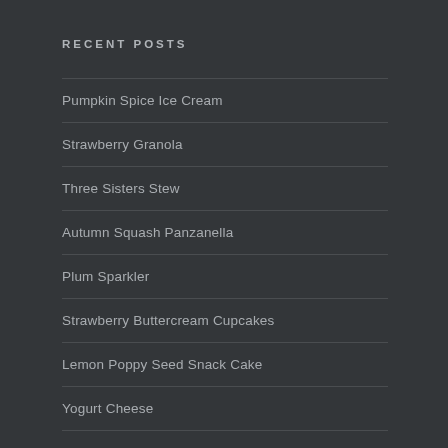RECENT POSTS
Pumpkin Spice Ice Cream
Strawberry Granola
Three Sisters Stew
Autumn Squash Panzanella
Plum Sparkler
Strawberry Buttercream Cupcakes
Lemon Poppy Seed Snack Cake
Yogurt Cheese
Gravenstein Apple Slab Pie